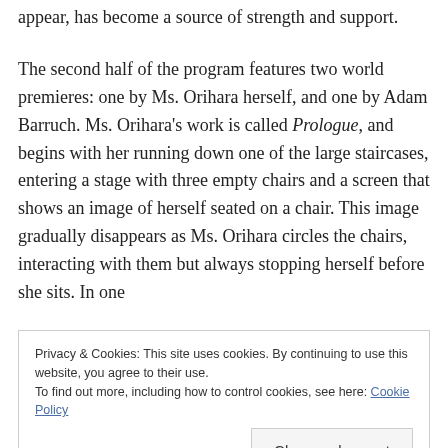appear, has become a source of strength and support.
The second half of the program features two world premieres: one by Ms. Orihara herself, and one by Adam Barruch. Ms. Orihara's work is called Prologue, and begins with her running down one of the large staircases, entering a stage with three empty chairs and a screen that shows an image of herself seated on a chair. This image gradually disappears as Ms. Orihara circles the chairs, interacting with them but always stopping herself before she sits. In one
Privacy & Cookies: This site uses cookies. By continuing to use this website, you agree to their use.
To find out more, including how to control cookies, see here: Cookie Policy
Close and accept
She often walks in one direction and then